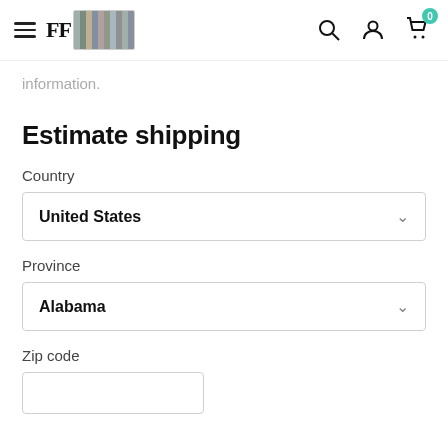Free Fitted navigation bar with logo, search, account, and cart icons
information.
Estimate shipping
Country
United States
Province
Alabama
Zip code